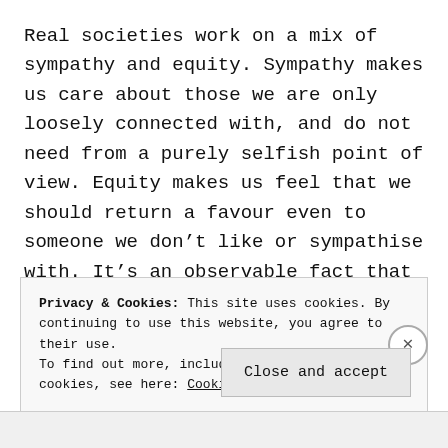Real societies work on a mix of sympathy and equity. Sympathy makes us care about those we are only loosely connected with, and do not need from a purely selfish point of view. Equity makes us feel that we should return a favour even to someone we don't like or sympathise with. It's an observable fact that people will feel guilty when they have broken their own code and done something they feel to be unfair. And on the 'enforcement' side of the social consensus, we feel the
Privacy & Cookies: This site uses cookies. By continuing to use this website, you agree to their use.
To find out more, including how to control cookies, see here: Cookie Policy
Close and accept